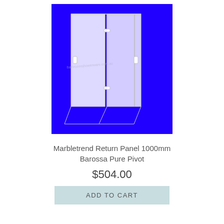[Figure (illustration): Product illustration of a frameless glass shower enclosure with pivot door on a blue background. Faint watermark text visible in the center of the image.]
Marbletrend Return Panel 1000mm Barossa Pure Pivot
$504.00
ADD TO CART